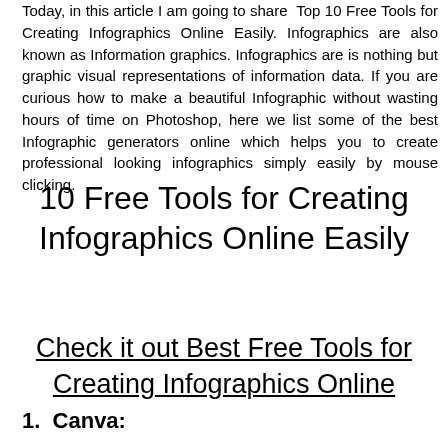Today, in this article I am going to share  Top 10 Free Tools for Creating Infographics Online Easily. Infographics are also known as Information graphics. Infographics are is nothing but graphic visual representations of information data. If you are curious how to make a beautiful Infographic without wasting hours of time on Photoshop, here we list some of the best Infographic generators online which helps you to create professional looking infographics simply easily by mouse clicking.
10 Free Tools for Creating Infographics Online Easily
Check it out Best Free Tools for Creating Infographics Online
1.  Canva: